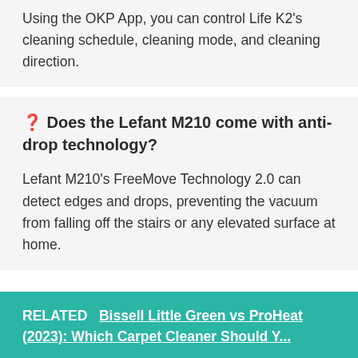Using the OKP App, you can control Life K2’s cleaning schedule, cleaning mode, and cleaning direction.
❔ Does the Lefant M210 come with anti-drop technology?
Lefant M210’s FreeMove Technology 2.0 can detect edges and drops, preventing the vacuum from falling off the stairs or any elevated surface at home.
RELATED  Bissell Little Green vs ProHeat (2023): Which Carpet Cleaner Should Y...